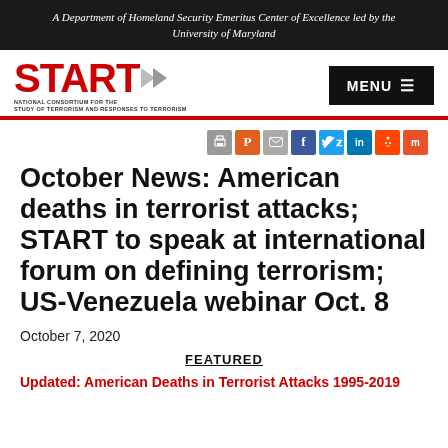A Department of Homeland Security Emeritus Center of Excellence led by the University of Maryland
[Figure (logo): START logo with red text and double arrow, tagline NATIONAL CONSORTIUM FOR THE STUDY OF TERRORISM AND RESPONSES TO TERRORISM]
October News: American deaths in terrorist attacks; START to speak at international forum on defining terrorism; US-Venezuela webinar Oct. 8
October 7, 2020
FEATURED
Updated: American Deaths in Terrorist Attacks 1995-2019